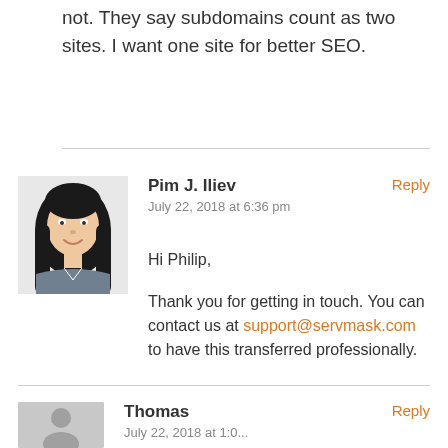not. They say subdomains count as two sites. I want one site for better SEO.
[Figure (photo): Avatar photo of Pim J. Iliev — illustrated portrait of a woman with long dark hair]
Pim J. Iliev
Reply
July 22, 2018 at 6:36 pm
Hi Philip,

Thank you for getting in touch. You can contact us at support@servmask.com to have this transferred professionally.
[Figure (photo): Generic grey avatar placeholder for Thomas]
Thomas
Reply